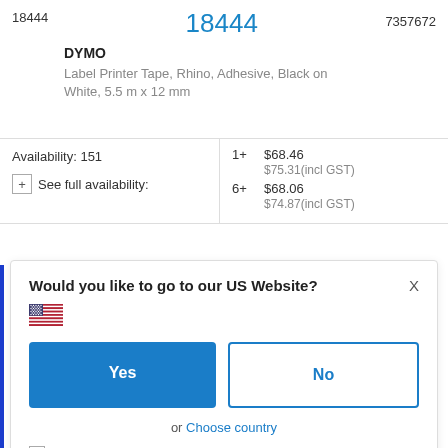18444
18444
7357672
DYMO
Label Printer Tape, Rhino, Adhesive, Black on White, 5.5 m x 12 mm
Availability: 151
+ See full availability:
1+
$68.46
$75.31(incl GST)
6+
$68.06
$74.87(incl GST)
Would you like to go to our US Website?
Yes
No
or Choose country
Remember this choice and automatically redirect me in the future